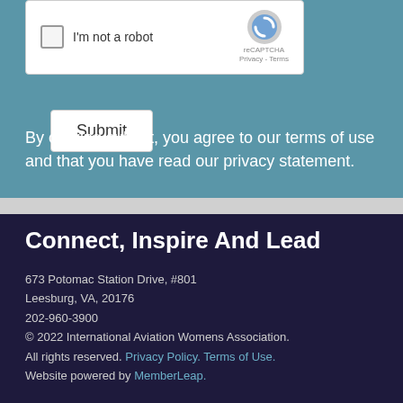[Figure (screenshot): reCAPTCHA widget with checkbox labeled 'I'm not a robot', reCAPTCHA logo, Privacy and Terms links]
Submit
By clicking submit, you agree to our terms of use and that you have read our privacy statement.
Connect, Inspire And Lead
673 Potomac Station Drive, #801
Leesburg, VA, 20176
202-960-3900
© 2022 International Aviation Womens Association. All rights reserved. Privacy Policy. Terms of Use.
Website powered by MemberLeap.